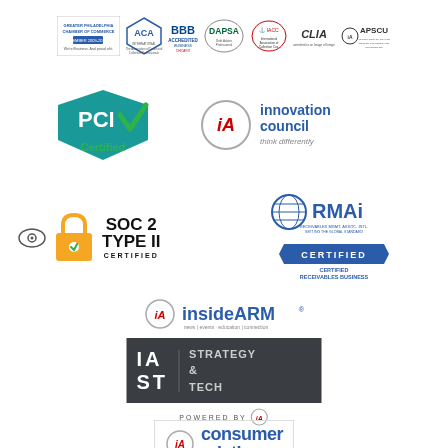[Figure (logo): Row of association/certification logos: Greater Philadelphia Chamber of Commerce, ACA International, BBB Accredited Business, DAPSA, IACC, CLIA, APSCU]
[Figure (logo): PCI Certified logo - teal diamond shape with checkmark and green 'Certified' text below]
[Figure (logo): iA Innovation Council logo - circular iA badge with 'innovation council' text and 'think differently' tagline]
[Figure (logo): SOC 2 Type II Certified logo with lock icon and CBS logo]
[Figure (logo): RMAi Certified - Certified Receivables Business logo]
[Figure (logo): insideARM logo with tagline 'news | events · education | connection']
[Figure (logo): IAST Strategy & Tech dark grey box logo]
POWERED BY iA
[Figure (logo): iA consumer relations logo]